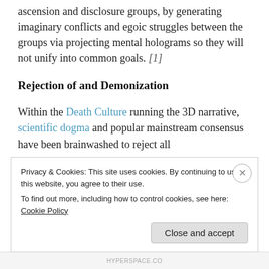ascension and disclosure groups, by generating imaginary conflicts and egoic struggles between the groups via projecting mental holograms so they will not unify into common goals. [1]
Rejection of and Demonization
Within the Death Culture running the 3D narrative, scientific dogma and popular mainstream consensus have been brainwashed to reject all
Privacy & Cookies: This site uses cookies. By continuing to use this website, you agree to their use.
To find out more, including how to control cookies, see here: Cookie Policy